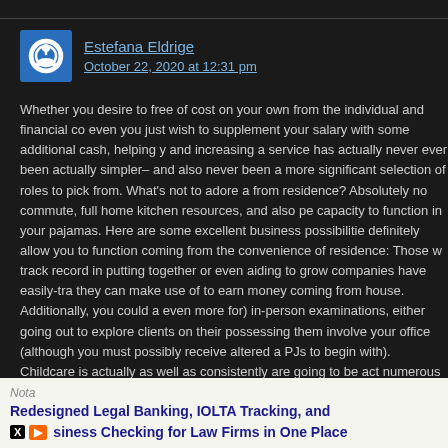Estefana Eldrige
October 22, 2020 at 12:31 pm
Whether you desire to free of cost on your own from the individual and financial co even you just wish to supplement your salary with some additional cash, helping y and increasing a service has actually never ever been actually simpler– and also never been a more significant selection of roles to pick from. What's not to adore a from residence? Absolutely no commute, full home kitchen resources, and also pe capacity to function in your pajamas. Here are some excellent business possibilitie definitely allow you to function coming from the convenience of residence: Those w track record in putting together or even aiding to grow companies have easily-tra they can make use of to earn money coming from house. Additionally, you could a even more for) in-person examinations, either going out to explore clients on their possessing them involve your office (although you must possibly receive altered a PJs to begin with). Childcare is actually as well as consistently are going to be act numerous households, and day care facilities do not come cheap. Various other a from teaching languages to songs to assisting with reading or writing, are all effort into companies– as well as they may be evenly lucrative and also widely worthwhi you may ask for will rely upon your knowledge, location, and job you're educating anticipate to make your thousands in this manner. Like daycare, treatment for the vital service that is going to constantly remain in demand. What's even more, thos usually come back when able to continue to be in their own s rather tha helped residing. While particular factors of treatment need health care credentials customer king food pe not. Spec but count c serving p erings. Only
Close X
Nota
Redesigned Legal Banking, IOLTA Tracking, and siness Checking for Law Firms in One Place